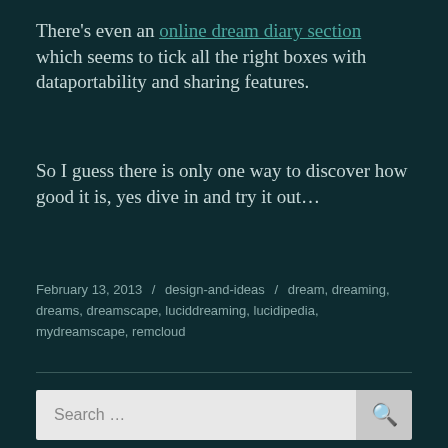There's even an online dream diary section which seems to tick all the right boxes with dataportability and sharing features.
So I guess there is only one way to discover how good it is, yes dive in and try it out...
February 13, 2013 / design-and-ideas / dream, dreaming, dreams, dreamscape, luciddreaming, lucidipedia, mydreamscape, remcloud